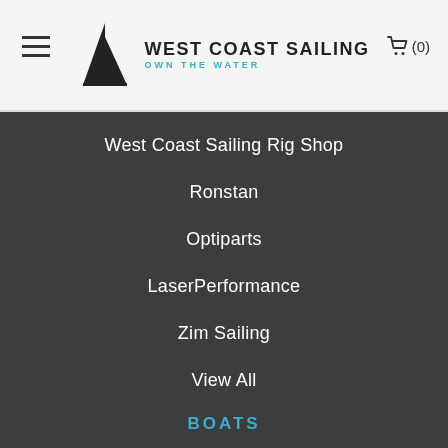West Coast Sailing — OWN THE WATER — (0)
West Coast Sailing Rig Shop
Ronstan
Optiparts
LaserPerformance
Zim Sailing
View All
BOATS
RS Sailing
Hobie Sailboats
Zim Sailing
Ovington Boats
Melges